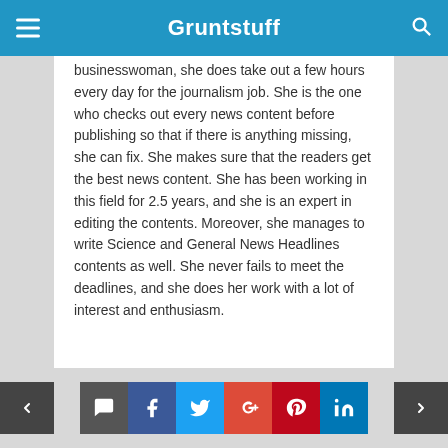Gruntstuff
businesswoman, she does take out a few hours every day for the journalism job. She is the one who checks out every news content before publishing so that if there is anything missing, she can fix. She makes sure that the readers get the best news content. She has been working in this field for 2.5 years, and she is an expert in editing the contents. Moreover, she manages to write Science and General News Headlines contents as well. She never fails to meet the deadlines, and she does her work with a lot of interest and enthusiasm.
< [comment] [f] [twitter] [g+] [pinterest] [in] >